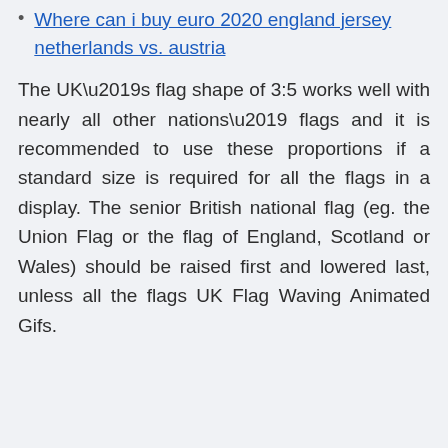Where can i buy euro 2020 england jersey netherlands vs. austria
The UK’s flag shape of 3:5 works well with nearly all other nations’ flags and it is recommended to use these proportions if a standard size is required for all the flags in a display. The senior British national flag (eg. the Union Flag or the flag of England, Scotland or Wales) should be raised first and lowered last, unless all the flags UK Flag Waving Animated Gifs.